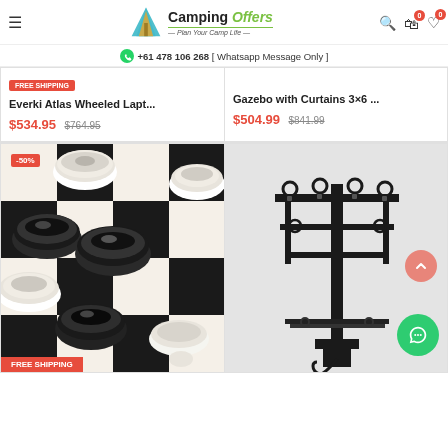Camping Offers — Plan Your Camp Life | +61 478 106 268 [ Whatsapp Message Only ]
FREE SHIPPING
Everki Atlas Wheeled Lapt...
$534.95  $764.95
Gazebo with Curtains 3×6 ...
$504.99  $841.99
[Figure (photo): Close-up of large black and white checkers/draughts game pieces on a black and white checkered board]
[Figure (photo): Black metal bike rack / hitch-mounted bicycle carrier on light grey background]